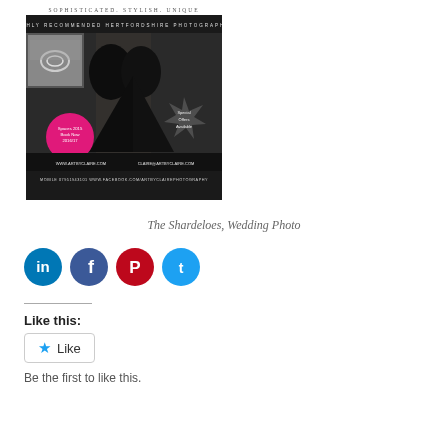[Figure (photo): Advertisement for Art by Claire photography: silhouette of couple kissing, small ring photo inset, pink circle with 'Spaces 2015 Book Now 2016/17', star burst with 'Special Offers Available', website and contact details.]
The Shardeloes, Wedding Photo
[Figure (other): Social sharing icons: LinkedIn, Facebook, Pinterest, Twitter]
Like this:
[Figure (other): Like button widget with star icon and 'Like' text]
Be the first to like this.